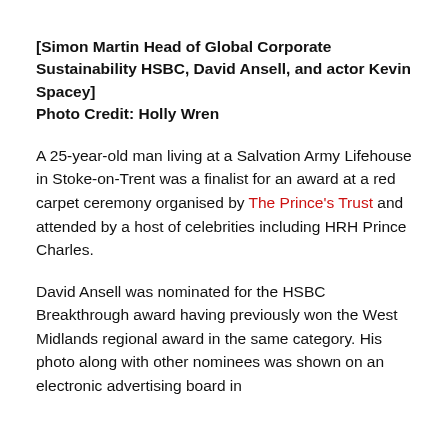[Simon Martin Head of Global Corporate Sustainability HSBC, David Ansell, and actor Kevin Spacey]
Photo Credit: Holly Wren
A 25-year-old man living at a Salvation Army Lifehouse in Stoke-on-Trent was a finalist for an award at a red carpet ceremony organised by The Prince's Trust and attended by a host of celebrities including HRH Prince Charles.
David Ansell was nominated for the HSBC Breakthrough award having previously won the West Midlands regional award in the same category. His photo along with other nominees was shown on an electronic advertising board in